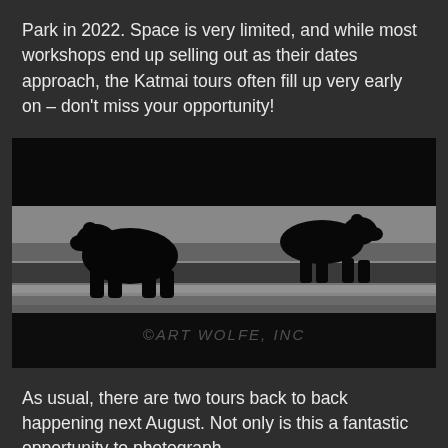Park in 2022. Space is very limited, and while most workshops end up selling out as their dates approach, the Katmai tours often fill up very early on – don't miss your opportunity!
[Figure (photo): Black and white photograph of two bear silhouettes on a reflective shoreline/mudflat. The image has a watermark reading '©ART WOLFE, INC' in the lower center.]
As usual, there are two tours back to back happening next August. Not only is this a fantastic opportunity to photograph